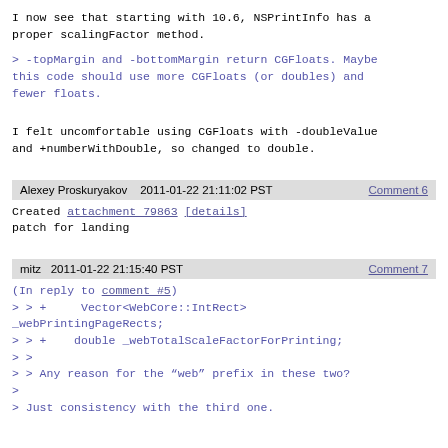I now see that starting with 10.6, NSPrintInfo has a proper scalingFactor method.
> -topMargin and -bottomMargin return CGFloats. Maybe this code should use more CGFloats (or doubles) and fewer floats.
I felt uncomfortable using CGFloats with -doubleValue and +numberWithDouble, so changed to double.
Alexey Proskuryakov    2011-01-22 21:11:02 PST    Comment 6
Created attachment 79863 [details]
patch for landing
mitz    2011-01-22 21:15:40 PST    Comment 7
(In reply to comment #5)
> > +    Vector<WebCore::IntRect> _webPrintingPageRects;
> > +    double _webTotalScaleFactorForPrinting;
> >
> > Any reason for the “web” prefix in these two?
>
> Just consistency with the third one.